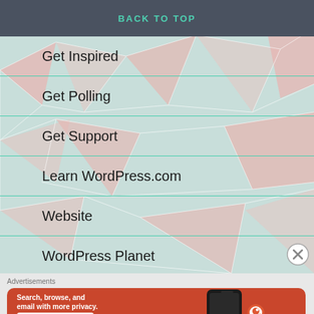BACK TO TOP
Get Inspired
Get Polling
Get Support
Learn WordPress.com
Website
WordPress Planet
Advertisements
[Figure (screenshot): DuckDuckGo advertisement banner with orange background reading 'Search, browse, and email with more privacy. All in One Free App' with phone image and DuckDuckGo logo]